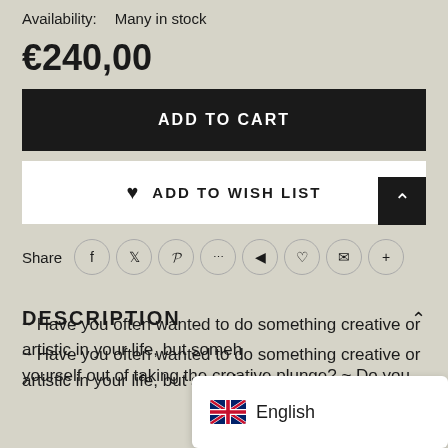Availability: Many in stock
€240,00
ADD TO CART
♥ ADD TO WISH LIST
Share
DESCRIPTION
~ Have you often wanted to do something creative or artistic in your life, but somehow yourself out of taking the creative plunge? ~ Do you
English